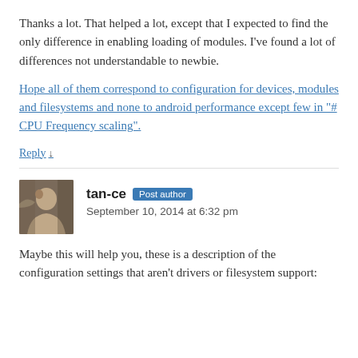Thanks a lot. That helped a lot, except that I expected to find the only difference in enabling loading of modules. I've found a lot of differences not understandable to newbie.
Hope all of them correspond to configuration for devices, modules and filesystems and none to android performance except few in "# CPU Frequency scaling".
Reply ↓
tan-ce  Post author
September 10, 2014 at 6:32 pm
Maybe this will help you, these is a description of the configuration settings that aren't drivers or filesystem support: